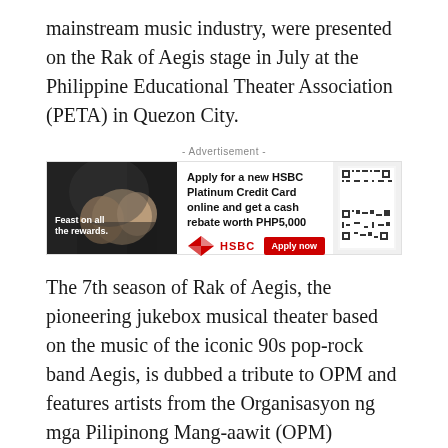mainstream music industry, were presented on the Rak of Aegis stage in July at the Philippine Educational Theater Association (PETA) in Quezon City.
[Figure (other): HSBC Platinum Credit Card advertisement banner showing people dining, with text 'Apply for a new HSBC Platinum Credit Card online and get a cash rebate worth PHP5,000', HSBC logo, Apply now button, and QR code]
The 7th season of Rak of Aegis, the pioneering jukebox musical theater based on the music of the iconic 90s pop-rock band Aegis, is dubbed a tribute to OPM and features artists from the Organisasyon ng mga Pilipinong Mang-aawit (OPM) including Cabangon and Barrios.
Noel Cabangon joined the Rak stage on July 20 essaying the role of Kiel, the shoemaker of the flooded-community of Barangay Venezia. It was Cabangon's first time back on the